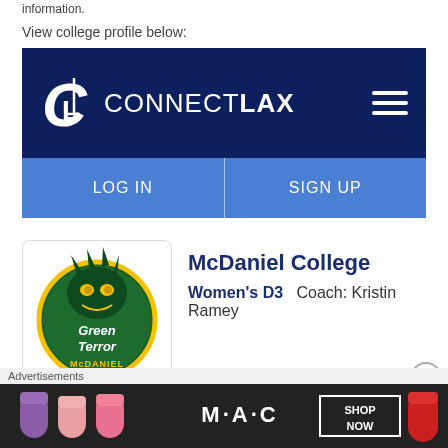information.
View college profile below:
[Figure (screenshot): ConnectLax website header with dark navy background, CL logo, CONNECTLAX text, and hamburger menu icon]
[Figure (screenshot): Blue navigation bar with LOG IN on left and SIGN UP on right]
[Figure (logo): McDaniel College Green Terror mascot logo - green and yellow monster creature]
McDaniel College
Women's D3    Coach: Kristin Ramey
Advertisements
[Figure (screenshot): MAC cosmetics advertisement showing lipsticks in purple, pink and red colors with SHOP NOW button]